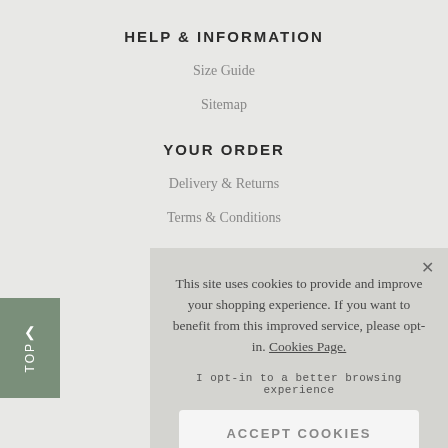HELP & INFORMATION
Size Guide
Sitemap
YOUR ORDER
Delivery & Returns
Terms & Conditions
This site uses cookies to provide and improve your shopping experience. If you want to benefit from this improved service, please opt-in. Cookies Page.

I opt-in to a better browsing experience

ACCEPT COOKIES